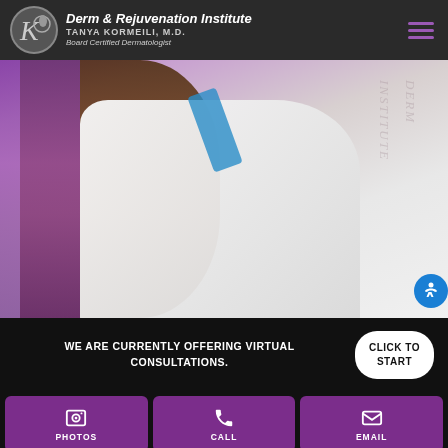Derm & Rejuvenation Institute | TANYA KORMEILI, M.D. | Board Certified Dermatologist
[Figure (photo): A woman with long curly hair wearing a white lab coat and blue stethoscope, photographed from behind/side, with a purple accent background and faint watermark text]
WE ARE CURRENTLY OFFERING VIRTUAL CONSULTATIONS.
CLICK TO START
PHOTOS
CALL
EMAIL